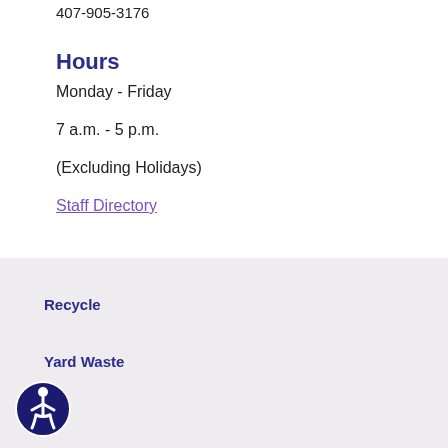407-905-3176
Hours
Monday - Friday
7 a.m. - 5 p.m.
(Excluding Holidays)
Staff Directory
Recycle
Yard Waste